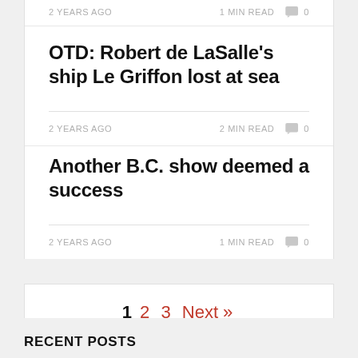2 YEARS AGO   1 MIN READ   0
OTD: Robert de LaSalle's ship Le Griffon lost at sea
2 YEARS AGO   2 MIN READ   0
Another B.C. show deemed a success
2 YEARS AGO   1 MIN READ   0
1   2   3   Next »
RECENT POSTS